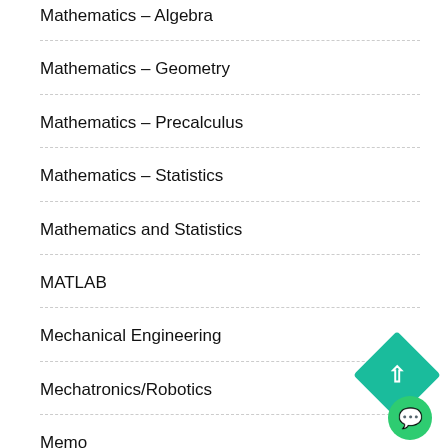Mathematics – Algebra
Mathematics – Geometry
Mathematics – Precalculus
Mathematics – Statistics
Mathematics and Statistics
MATLAB
Mechanical Engineering
Mechatronics/Robotics
Memo
Memo Format
mental health